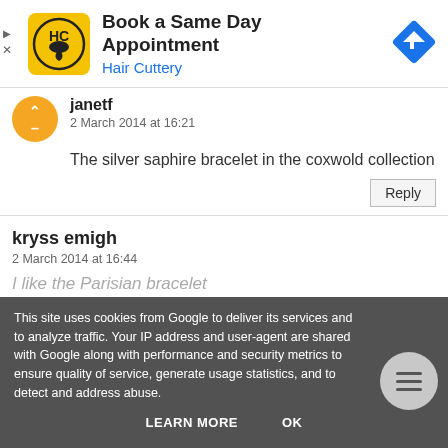[Figure (other): Hair Cuttery advertisement banner: yellow logo with HC text, 'Book a Same Day Appointment' headline, 'Hair Cuttery' subtitle in blue, blue diamond arrow icon on right.]
janetf
2 March 2014 at 16:21
The silver saphire bracelet in the coxwold collection
Reply
kryss emigh
2 March 2014 at 16:44
I like the Parisian bracelet
This site uses cookies from Google to deliver its services and to analyze traffic. Your IP address and user-agent are shared with Google along with performance and security metrics to ensure quality of service, generate usage statistics, and to detect and address abuse.
LEARN MORE
OK